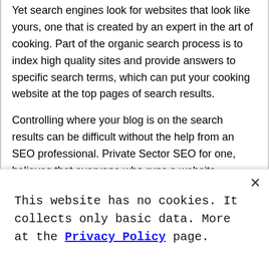Yet search engines look for websites that look like yours, one that is created by an expert in the art of cooking. Part of the organic search process is to index high quality sites and provide answers to specific search terms, which can put your cooking website at the top pages of search results.
Controlling where your blog is on the search results can be difficult without the help from an SEO professional. Private Sector SEO for one, believes that everyone who runs a website whether for business or as a side hustle, needs to use SEO. Moreover, local SEO matters, especially if your website aims to attract advertisers in your state or region.
This website has no cookies. It collects only basic data. More at the Privacy Policy page.